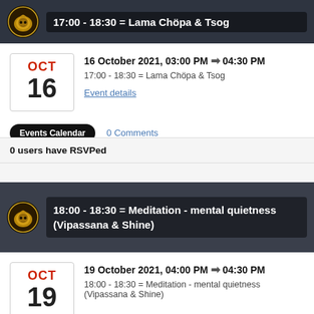[Figure (screenshot): Golden dragon/lion logo circle icon]
17:00 - 18:30 = Lama Chöpa & Tsog
16 October 2021, 03:00 PM → 04:30 PM
17:00 - 18:30 = Lama Chöpa & Tsog
Event details
Events Calendar    0 Comments
0 users have RSVPed
[Figure (screenshot): Golden dragon/lion logo circle icon for second event]
18:00 - 18:30 = Meditation - mental quietness (Vipassana & Shine)
19 October 2021, 04:00 PM → 04:30 PM
18:00 - 18:30 = Meditation - mental quietness (Vipassana & Shine)